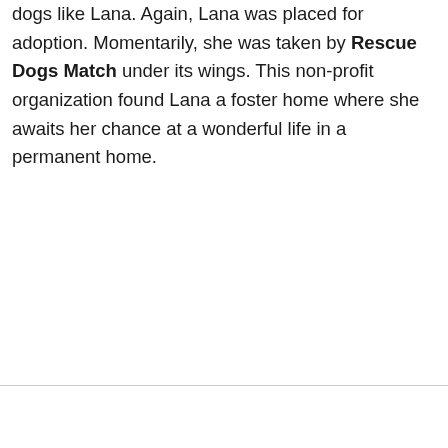dogs like Lana. Again, Lana was placed for adoption. Momentarily, she was taken by Rescue Dogs Match under its wings. This non-profit organization found Lana a foster home where she awaits her chance at a wonderful life in a permanent home.